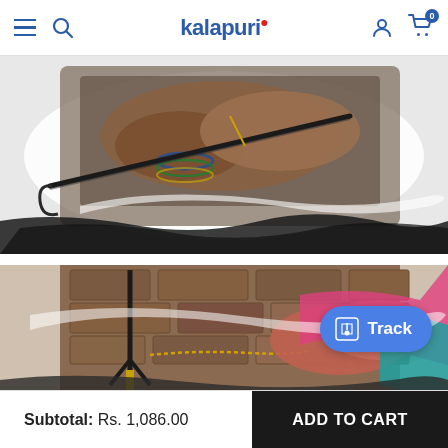kalapuri — navigation bar with hamburger, search, logo, user, cart (0)
[Figure (photo): A woman's hands weaving or crafting with thread and a wooden instrument, wearing colorful bangles, with a brush-stroke decorative overlay on white background.]
[Figure (photo): Hands of a woman in a pink and teal saree working with a gold chain necklace against a stone brick wall, with a brush-stroke decorative overlay.]
Track
Subtotal: Rs. 1,086.00
ADD TO CART